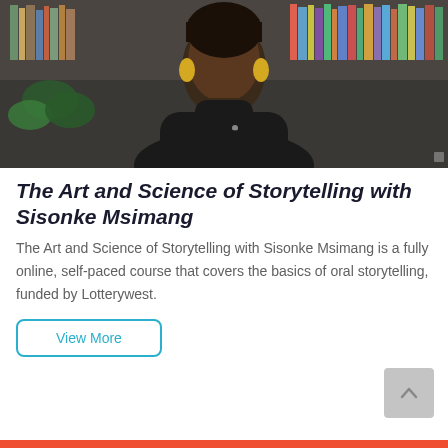[Figure (photo): A woman wearing a black turtleneck and yellow earrings, seated in front of a bookshelf with colorful books and plants in the background.]
The Art and Science of Storytelling with Sisonke Msimang
The Art and Science of Storytelling with Sisonke Msimang is a fully online, self-paced course that covers the basics of oral storytelling, funded by Lotterywest.
View More